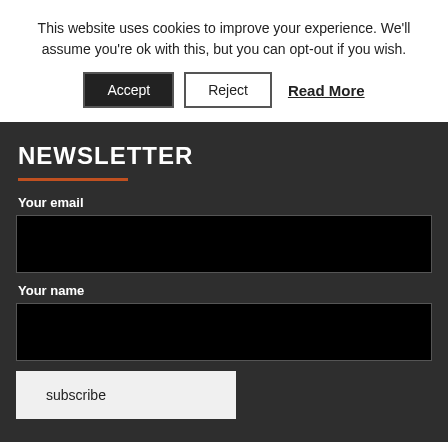This website uses cookies to improve your experience. We'll assume you're ok with this, but you can opt-out if you wish.
Accept | Reject | Read More
NEWSLETTER
Your email
Your name
subscribe